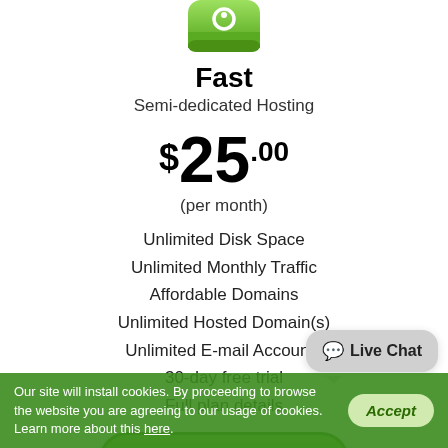[Figure (illustration): Green rounded square icon with a circular symbol inside, representing a hosting plan]
Fast
Semi-dedicated Hosting
$25.00
(per month)
Unlimited Disk Space
Unlimited Monthly Traffic
Affordable Domains
Unlimited Hosted Domain(s)
Unlimited E-mail Accounts
30-day free trial
Full plan details
Start Free Trial
💬 Live Chat
Our site will install cookies. By proceeding to browse the website you are agreeing to our usage of cookies. Learn more about this here.